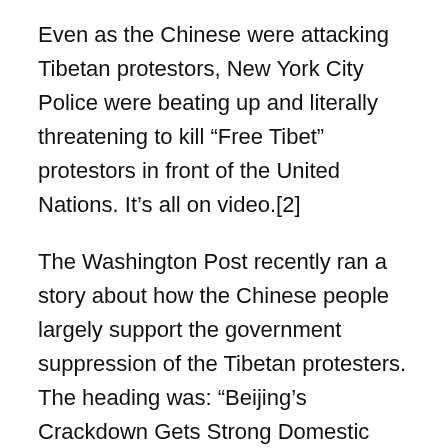Even as the Chinese were attacking Tibetan protestors, New York City Police were beating up and literally threatening to kill “Free Tibet” protestors in front of the United Nations. It’s all on video.[2]
The Washington Post recently ran a story about how the Chinese people largely support the government suppression of the Tibetan protesters. The heading was: “Beijing’s Crackdown Gets Strong Domestic Support. Ethnic Pride Stoked by Government Propaganda.” The article spoke of how Beijing officials have “educated” the public about Tibet “through propaganda”.[3] That’s a rather interesting concept. Imagine the Post or any other American mainstream media saying that those Americans who support the war in Iraq do so because they’ve been educated by government propaganda. … Ditto those who support the war in Afghanistan. … Ditto those who